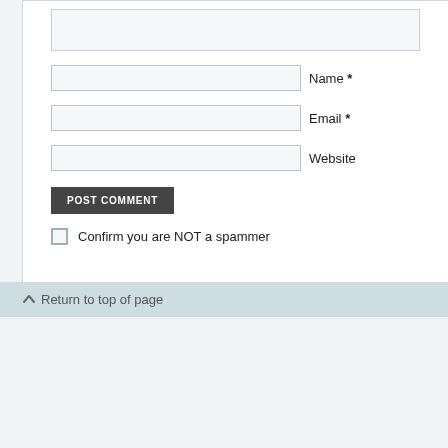[Figure (screenshot): Web comment form with textarea stub at top, input fields for Name, Email, Website, a POST COMMENT button, and a spam confirmation checkbox]
Name *
Email *
Website
POST COMMENT
Confirm you are NOT a spammer
Return to top of page